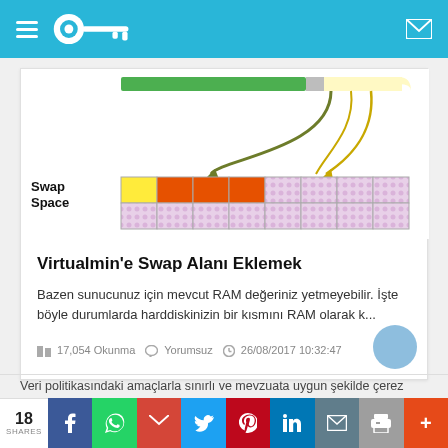Navigation bar with key logo
[Figure (illustration): Swap space memory diagram showing yellow, orange, and hatched blocks with arrows indicating data movement between RAM and swap space. Labels: Swap Space]
Virtualmin'e Swap Alanı Eklemek
Bazen sunucunuz için mevcut RAM değeriniz yetmeyebilir. İşte böyle durumlarda harddiskinizin bir kısmını RAM olarak k...
17,054 Okunma   Yorumsuz   26/08/2017 10:32:47
Veri politikasındaki amaçlarla sınırlı ve mevzuata uygun şekilde çerez
18 SHARES — Share buttons: Facebook, WhatsApp, Gmail, Twitter, Pinterest, LinkedIn, Email, Print, More